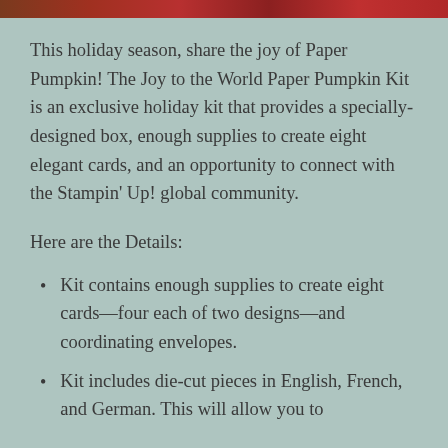[Figure (photo): Decorative holiday image strip at top of page showing warm red and brown tones]
This holiday season, share the joy of Paper Pumpkin! The Joy to the World Paper Pumpkin Kit is an exclusive holiday kit that provides a specially-designed box, enough supplies to create eight elegant cards, and an opportunity to connect with the Stampin' Up! global community.
Here are the Details:
Kit contains enough supplies to create eight cards—four each of two designs—and coordinating envelopes.
Kit includes die-cut pieces in English, French, and German. This will allow you to